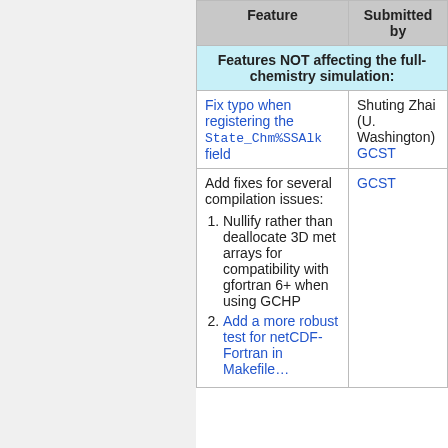| Feature | Submitted by |
| --- | --- |
| Features NOT affecting the full-chemistry simulation: |  |
| Fix typo when registering the State_Chm%SSAlk field | Shuting Zhai (U. Washington)
GCST |
| Add fixes for several compilation issues:
1. Nullify rather than deallocate 3D met arrays for compatibility with gfortran 6+ when using GCHP
2. Add a more robust test for netCDF-Fortran in Makefile... | GCST |